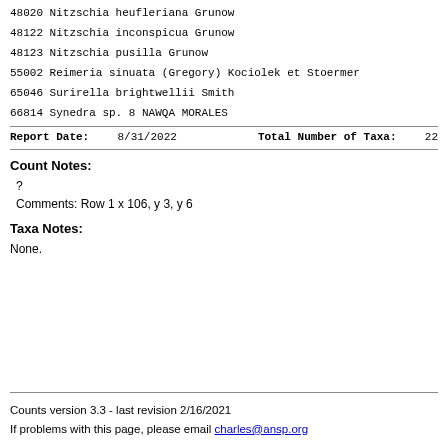48020 Nitzschia heufleriana Grunow
48122 Nitzschia inconspicua Grunow
48123 Nitzschia pusilla Grunow
55002 Reimeria sinuata (Gregory) Kociolek et Stoermer
65046 Surirella brightwellii Smith
66814 Synedra sp. 8 NAWQA MORALES
Report Date: 8/31/2022    Total Number of Taxa: 22
Count Notes:
?
Comments: Row 1 x 106, y 3, y 6
Taxa Notes:
None.
Counts version 3.3 - last revision 2/16/2021
If problems with this page, please email charles@ansp.org